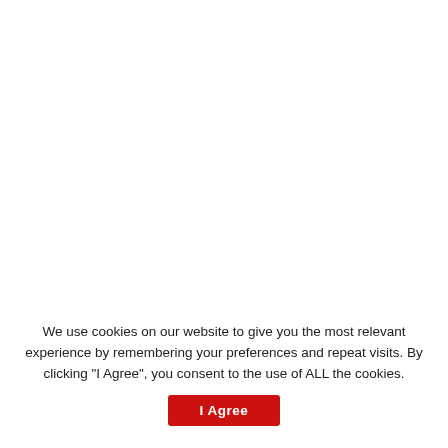Latest News
Enterprise Greece Delegation in Libya to Develop Bilateral Business Ties
We use cookies on our website to give you the most relevant experience by remembering your preferences and repeat visits. By clicking "I Agree", you consent to the use of ALL the cookies.
I Agree